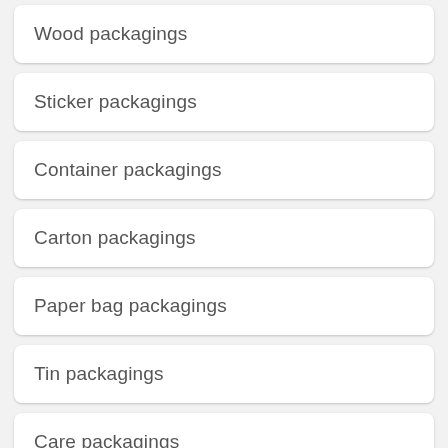Wood packagings
Sticker packagings
Container packagings
Carton packagings
Paper bag packagings
Tin packagings
Care packagings